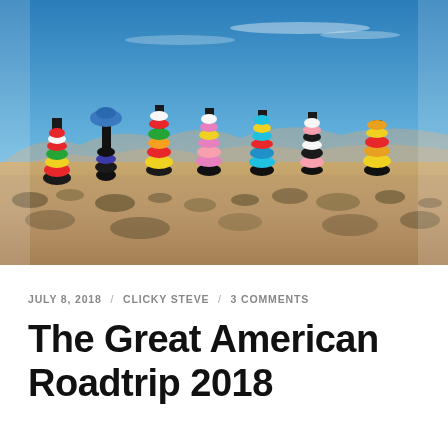[Figure (photo): Seven Magic Mountains art installation in the Nevada desert: tall stacks of colorful painted boulders (red, green, yellow, pink, blue, teal, orange, white, black) set against a blue sky with distant mountains on the horizon and scrubby desert vegetation in the foreground.]
JULY 8, 2018 / CLICKY STEVE / 3 COMMENTS
The Great American Roadtrip 2018